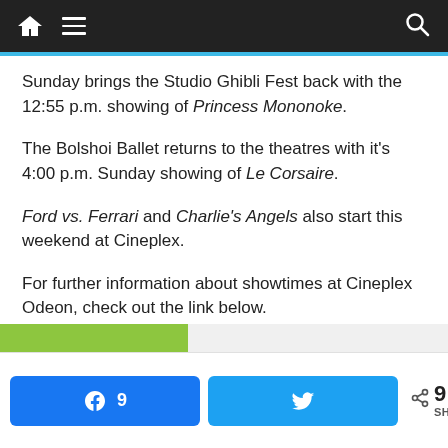Navigation bar with home, menu, and search icons
Sunday brings the Studio Ghibli Fest back with the 12:55 p.m. showing of Princess Mononoke.
The Bolshoi Ballet returns to the theatres with it's 4:00 p.m. Sunday showing of Le Corsaire.
Ford vs. Ferrari and Charlie's Angels also start this weekend at Cineplex.
For further information about showtimes at Cineplex Odeon, check out the link below.
Article may continue below
Facebook 9 | Twitter share | < 9 SHARES